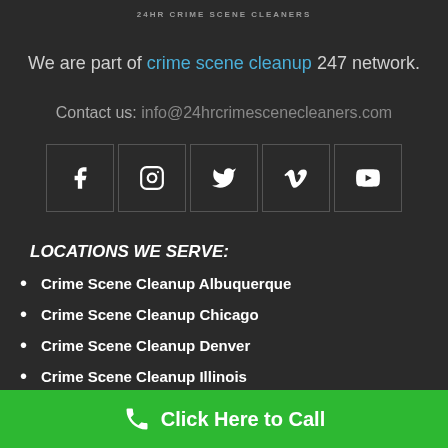24HR CRIME SCENE CLEANERS
We are part of crime scene cleanup 247 network.
Contact us: info@24hrcrimescenecleaners.com
[Figure (infographic): Social media icons: Facebook, Instagram, Twitter, Vimeo, YouTube displayed in bordered square boxes]
LOCATIONS WE SERVE:
Crime Scene Cleanup Albuquerque
Crime Scene Cleanup Chicago
Crime Scene Cleanup Denver
Crime Scene Cleanup Illinois
Click Here to Call